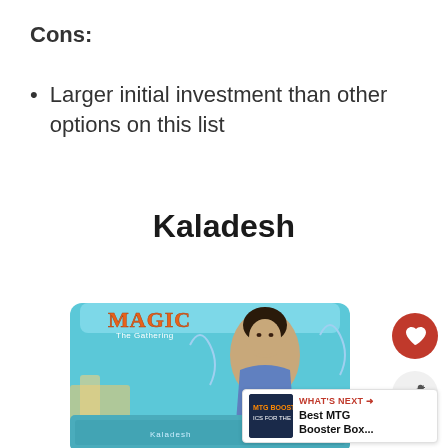Cons:
Larger initial investment than other options on this list
Kaladesh
[Figure (photo): Magic: The Gathering Kaladesh booster box product image showing a woman with decorative face markings on the box art, with UI elements including a heart/favorite button, share button, and a 'WHAT'S NEXT' promo panel for Best MTG Booster Box...]